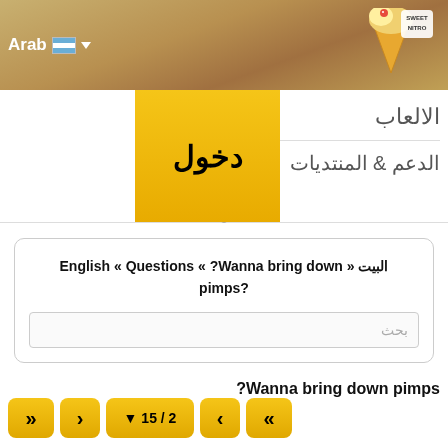Arab (Argentina flag) ▼ — Sweet Nitro logo
الالعاب
الدعم & المنتديات
دخول
البيت « English « Questions « ?Wanna bring down pimps?
بحث
?Wanna bring down pimps
» › ▼ 15 / 2 ‹ «